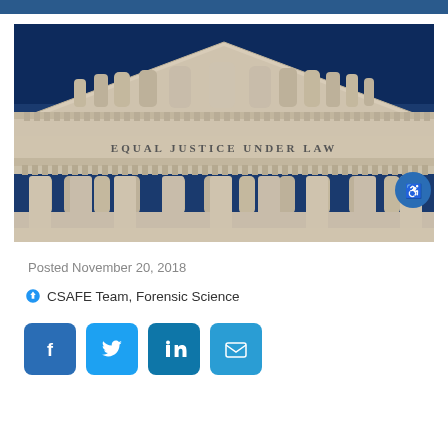[Figure (photo): Photograph of the United States Supreme Court building facade showing the pediment with classical sculptures and the inscription EQUAL JUSTICE UNDER LAW on the frieze, with columns below, against a deep blue sky.]
Posted November 20, 2018
CSAFE Team, Forensic Science
[Figure (other): Social media sharing buttons: Facebook, Twitter, LinkedIn, Email]